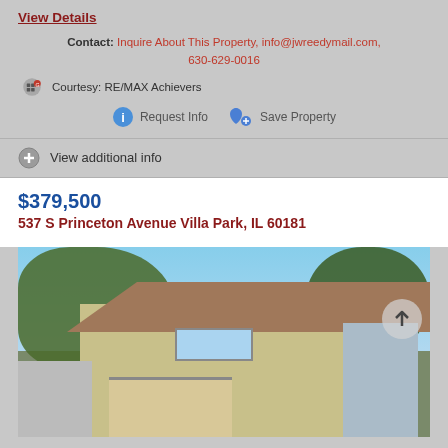View Details
Contact: Inquire About This Property, info@jwreedymail.com, 630-629-0016
Courtesy: RE/MAX Achievers
Request Info   Save Property
View additional info
$379,500
537 S Princeton Avenue Villa Park, IL 60181
[Figure (photo): Exterior photo of a house at 537 S Princeton Avenue Villa Park, showing a bungalow-style home with a porch, surrounded by large trees, with a blue sky background. A navigation arrow overlay is visible on the right side of the image.]